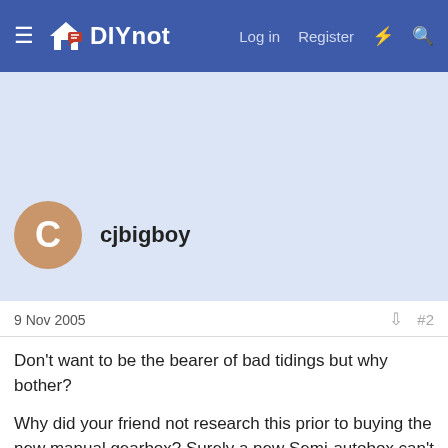DIYnot — Log in  Register
[Figure (other): Advertisement banner area (light blue background, empty)]
cjbigboy
9 Nov 2005  #2
Don't want to be the bearer of bad tidings but why bother?
Why did your friend not research this prior to buying the new manual gearbox? Surely a new Semi-autobox can't have been that much more when you take all the other bits into account and the extra work involved
Can it be done at all?